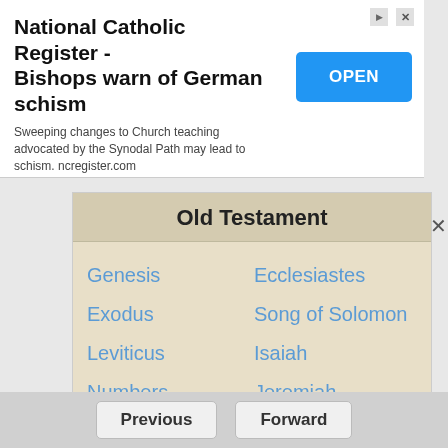[Figure (screenshot): Advertisement banner for National Catholic Register - Bishops warn of German schism with OPEN button]
Old Testament
Genesis
Ecclesiastes
Exodus
Song of Solomon
Leviticus
Isaiah
Numbers
Jeremiah
Deuteronomy
Lamentations
Joshua
Ezekiel
Judges
Daniel
Ruth
Hosea
Previous   Forward